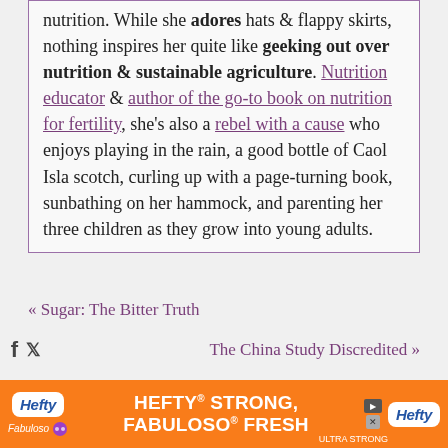nutrition. While she adores hats & flappy skirts, nothing inspires her quite like geeking out over nutrition & sustainable agriculture. Nutrition educator & author of the go-to book on nutrition for fertility, she's also a rebel with a cause who enjoys playing in the rain, a good bottle of Caol Isla scotch, curling up with a page-turning book, sunbathing on her hammock, and parenting her three children as they grow into young adults.
« Sugar: The Bitter Truth
The China Study Discredited »
COMMENTS
[Figure (other): Hefty / Fabuloso advertisement banner — orange background with Hefty logo, Fabuloso logo, and text 'HEFTY STRONG, FABULOSO FRESH']